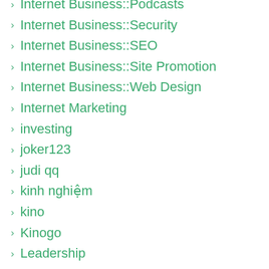Internet Business::Podcasts
Internet Business::Security
Internet Business::SEO
Internet Business::Site Promotion
Internet Business::Web Design
Internet Marketing
investing
joker123
judi qq
kinh nghiệm
kino
Kinogo
Leadership
legal
Life Style